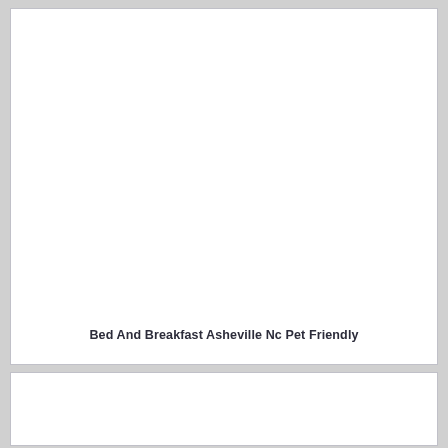Bed And Breakfast Asheville Nc Pet Friendly